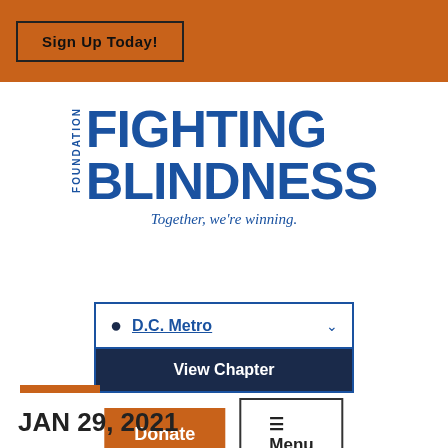Sign Up Today!
[Figure (logo): Foundation Fighting Blindness logo with tagline 'Together, we're winning.']
D.C. Metro — View Chapter selector
Donate | Menu buttons
JAN 29, 2021